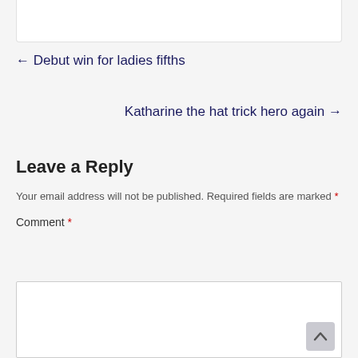← Debut win for ladies fifths
Katharine the hat trick hero again →
Leave a Reply
Your email address will not be published. Required fields are marked *
Comment *